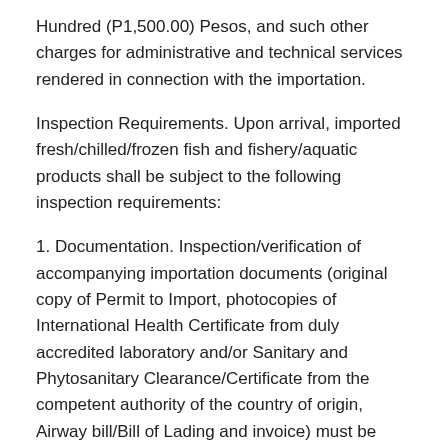Hundred (P1,500.00) Pesos, and such other charges for administrative and technical services rendered in connection with the importation.
Inspection Requirements. Upon arrival, imported fresh/chilled/frozen fish and fishery/aquatic products shall be subject to the following inspection requirements:
1. Documentation. Inspection/verification of accompanying importation documents (original copy of Permit to Import, photocopies of International Health Certificate from duly accredited laboratory and/or Sanitary and Phytosanitary Clearance/Certificate from the competent authority of the country of origin, Airway bill/Bill of Lading and invoice) must be presented and surrendered to the inspecting Fishery Quarantine Officer). In the absence of a certified true copy by the importer of